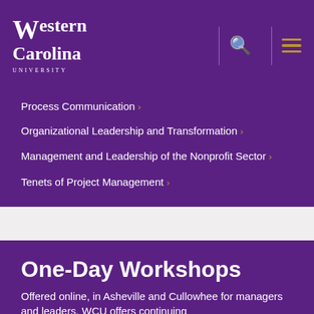Western Carolina University
Process Communication
Organizational Leadership and Transformation
Management and Leadership of the Nonprofit Sector
Tenets of Project Management
One-Day Workshops
Offered online, in Asheville and Cullowhee for managers and leaders. WCU offers continuing